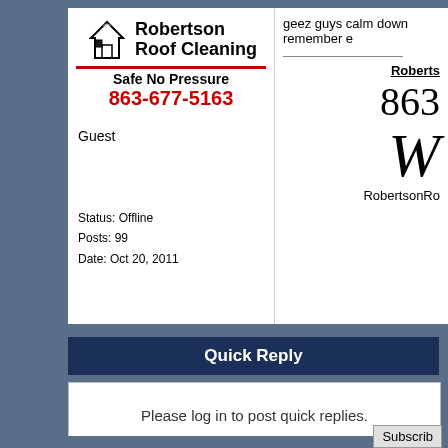[Figure (logo): Robertson Roof Cleaning logo with house icon, tagline 'Safe No Pressure', and phone number 863-677-5163 in red]
Guest
Status: Offline
Posts: 99
Date: Oct 20, 2011
geez guys calm down remember e
Roberts
863
W
RobertsonRo
Quick Reply
Please log in to post quick replies.
Subscrib